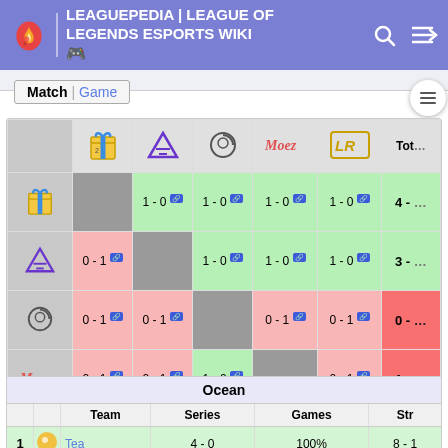LEAGUEPEDIA | LEAGUE OF LEGENDS ESPORTS WIKI
|  | Team2 | Team3 | Team4 | Team5 | Team6 | Total |
| --- | --- | --- | --- | --- | --- | --- |
| Team2 | - | 1-0 | 1-0 | 1-0 | 1-0 | 4-0 |
| Team3 | 0-1 | - | 1-0 | 1-0 | 1-0 | 3-1 |
| Team4 | 0-1 | 0-1 | - | 0-1 | 0-1 | 0-4 |
| Team5 | 0-1 | 0-1 | 1-0 | - | 0-1 | 1-3 |
| Team6 | 0-1 | 0-1 | 1-0 | 1-0 | - | 2-2 |
|  |  | Team | Series | Games | Str |
| --- | --- | --- | --- | --- | --- |
| 1 |  | Tea | 4-0 | 100% | 8-1 | 89% | 4W |